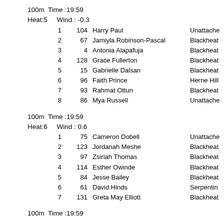100m  Time :19:59
Heat:5      Wind : -0.3
| Pos | No | Name | Club |
| --- | --- | --- | --- |
| 1 | 104 | Harry Paul | Unattached |
| 2 | 67 | Jamiyla Robinson-Pascal | Blackheath |
| 3 | 4 | Antonia Alapafuja | Blackheath |
| 4 | 128 | Grace Fullerton | Blackheath |
| 5 | 15 | Gabrielle Dalsan | Blackheath |
| 6 | 96 | Faith Prince | Herne Hill |
| 7 | 93 | Rahmat Ottun | Blackheath |
| 8 | 86 | Mya Russell | Unattached |
100m  Time :19:59
Heat:6      Wind : 0.6
| Pos | No | Name | Club |
| --- | --- | --- | --- |
| 1 | 75 | Cameron Dobell | Unattached |
| 2 | 123 | Jordanah Meshe | Blackheath |
| 3 | 97 | Zsiriah Thomas | Blackheath |
| 4 | 114 | Esther Owinde | Blackheath |
| 5 | 84 | Jesse Bailey | Blackheath |
| 6 | 61 | David Hinds | Serpentin |
| 7 | 131 | Greta May Elliott | Blackheath |
100m  Time :19:59